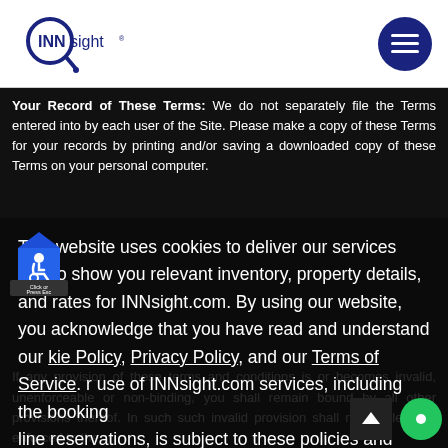[Figure (logo): INNsight logo with magnifying glass icon and registered trademark symbol]
[Figure (illustration): Dark navy circle with three horizontal white lines (hamburger/menu icon)]
Your Record of These Terms: We do not separately file the Terms entered into by each user of the Site. Please make a copy of these Terms for your records by printing and/or saving a downloaded copy of these Terms on your personal computer.
This website uses cookies to deliver our services and to show you relevant inventory, property details, and rates for INNsight.com. By using our website, you acknowledge that you have read and understand our Cookie Policy, Privacy Policy, and our Terms of Service. Your use of INNsight.com services, including the booking of online reservations, is subject to these policies and terms.
If any provision of these terms and conditions is or becomes invalid, unenforceable or non-binding, you shall remain bound by all other provisions thereof. In such case, such invalid provision shall nonetheless be enforced to the
[Figure (illustration): Blue accessibility icon shield with wheelchair symbol and 'Click or Press Esc' label]
[Figure (illustration): Dark box with upward arrow scroll-to-top button]
[Figure (illustration): Green circle chat bubble icon]